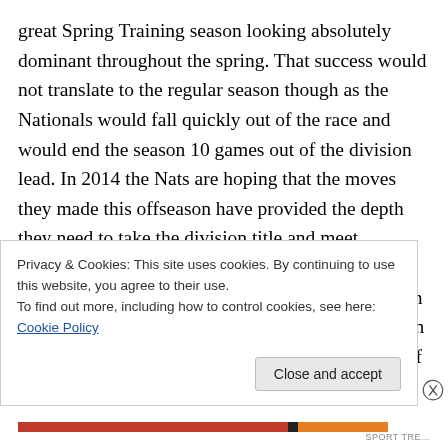great Spring Training season looking absolutely dominant throughout the spring. That success would not translate to the regular season though as the Nationals would fall quickly out of the race and would end the season 10 games out of the division lead. In 2014 the Nats are hoping that the moves they made this offseason have provided the depth they need to take the division title and meet expectations. The offence would not see a lot of upgrades as Nate McLouth was the biggest addition in the field. McLouth will not have major impact on the team but he does provide depth in the outfield if someone goes
Privacy & Cookies: This site uses cookies. By continuing to use this website, you agree to their use.
To find out more, including how to control cookies, see here: Cookie Policy
Close and accept